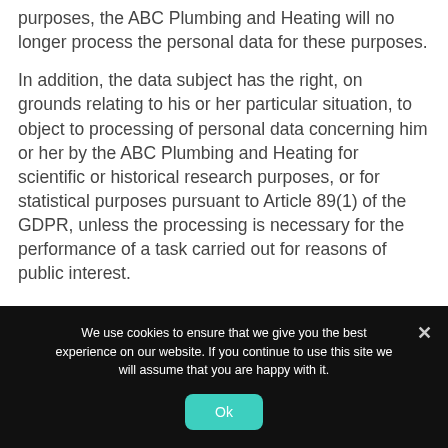purposes, the ABC Plumbing and Heating  will no longer process the personal data for these purposes.
In addition, the data subject has the right, on grounds relating to his or her particular situation, to object to processing of personal data concerning him or her by the ABC Plumbing and Heating  for scientific or historical research purposes, or for statistical purposes pursuant to Article 89(1) of the GDPR, unless the processing is necessary for the performance of a task carried out for reasons of public interest.
We use cookies to ensure that we give you the best experience on our website. If you continue to use this site we will assume that you are happy with it.